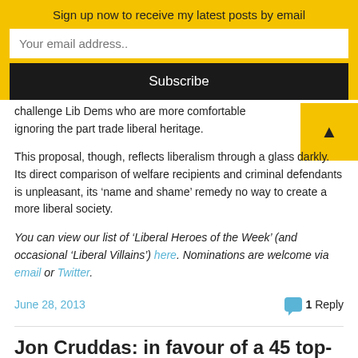Sign up now to receive my latest posts by email
Your email address..
Subscribe
challenge Lib Dems who are more comfortable ignoring the part trade liberal heritage.
This proposal, though, reflects liberalism through a glass darkly. Its direct comparison of welfare recipients and criminal defendants is unpleasant, its ‘name and shame’ remedy no way to create a more liberal society.
You can view our list of ‘Liberal Heroes of the Week’ (and occasional ‘Liberal Villains’) here. Nominations are welcome via email or Twitter.
June 28, 2013
1 Reply
Jon Cruddas: in favour of a 45 top-rate of tax before he was against it